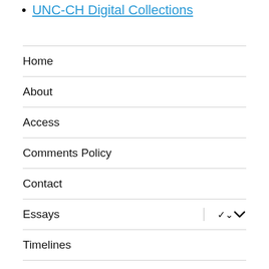UNC-CH Digital Collections
Home
About
Access
Comments Policy
Contact
Essays
Timelines